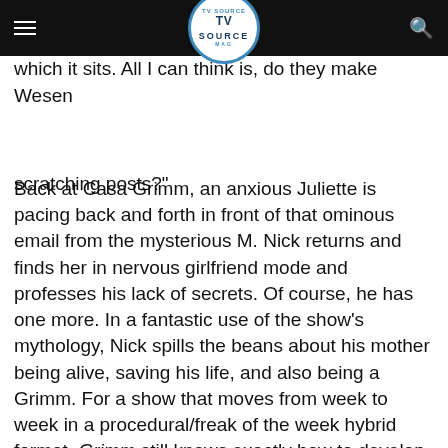TV Source Magazine
watches the news and wrecks the upholstery of the chair in which it sits. All I can think is, do they make Wesen scratching posts?"
Back at Casa Grimm, an anxious Juliette is pacing back and forth in front of that ominous email from the mysterious M. Nick returns and finds her in nervous girlfriend mode and professes his lack of secrets. Of course, he has one more. In a fantastic use of the show's mythology, Nick spills the beans about his mother being alive, saving his life, and also being a Grimm. For a show that moves from week to week in a procedural/freak of the week hybrid format, Grimm still knows exactly how to develop the back story and highlight previous moments for new viewers while also adding more depth to its mythos. These scenes were also great for showing why Nick and Juliette fit together the way they do. I know she's gotten a lot of stick from fellow Grimmsters, but the character—especially this season—is so much more than a damsel in distress.